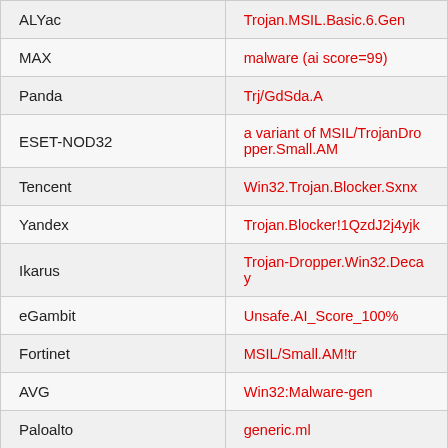| Vendor | Detection |
| --- | --- |
| ALYac | Trojan.MSIL.Basic.6.Gen |
| MAX | malware (ai score=99) |
| Panda | Trj/GdSda.A |
| ESET-NOD32 | a variant of MSIL/TrojanDropper.Small.AM |
| Tencent | Win32.Trojan.Blocker.Sxnx |
| Yandex | Trojan.Blocker!1QzdJ2j4yjk |
| Ikarus | Trojan-Dropper.Win32.Decay |
| eGambit | Unsafe.AI_Score_100% |
| Fortinet | MSIL/Small.AM!tr |
| AVG | Win32:Malware-gen |
| Paloalto | generic.ml |